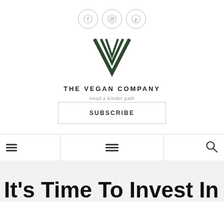[Figure (logo): Three social media icons in circles: Facebook (f), Instagram (camera), Pinterest (P) — outlined circles in a row]
[Figure (logo): The Vegan Company logo — a dark green stylized V made of three diagonal lines]
THE VEGAN COMPANY
tread a kinder path
SUBSCRIBE
[Figure (infographic): Navigation bar with hamburger menu icons on left and center, search (magnifying glass) icon on right, vertical divider lines separating sections]
It's Time To Invest In